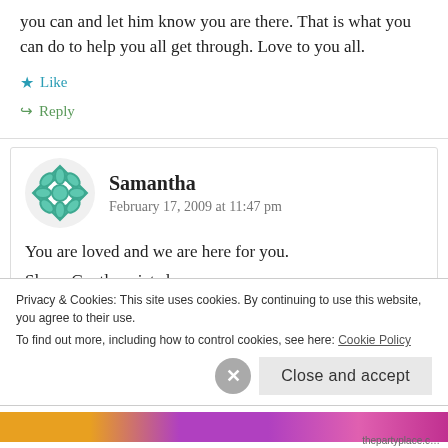you can and let him know you are there. That is what you can do to help you all get through. Love to you all.
★ Like
↪ Reply
Samantha
February 17, 2009 at 11:47 pm
You are loved and we are here for you.
Sleep. Gentle quiet sleep.
Privacy & Cookies: This site uses cookies. By continuing to use this website, you agree to their use. To find out more, including how to control cookies, see here: Cookie Policy
Close and accept